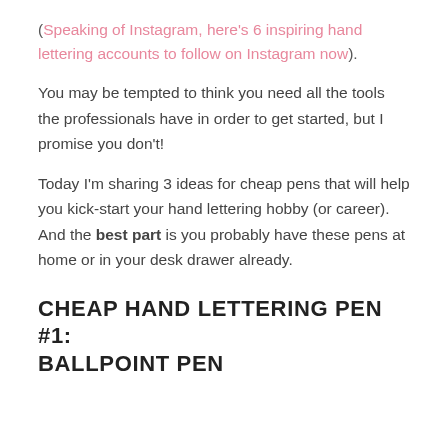(Speaking of Instagram, here's 6 inspiring hand lettering accounts to follow on Instagram now).
You may be tempted to think you need all the tools the professionals have in order to get started, but I promise you don't!
Today I'm sharing 3 ideas for cheap pens that will help you kick-start your hand lettering hobby (or career). And the best part is you probably have these pens at home or in your desk drawer already.
CHEAP HAND LETTERING PEN #1: BALLPOINT PEN